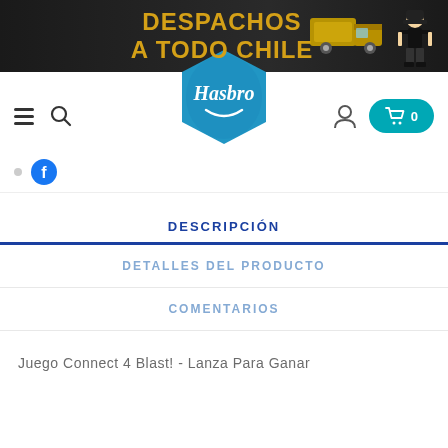[Figure (screenshot): Hasbro Chile e-commerce website banner with text DESPACHOS A TODO CHILE on dark background with Monopoly man illustration]
[Figure (logo): Hasbro logo on blue diamond-shaped pillow]
DESCRIPCIÓN
DETALLES DEL PRODUCTO
COMENTARIOS
Juego Connect 4 Blast! - Lanza Para Ganar